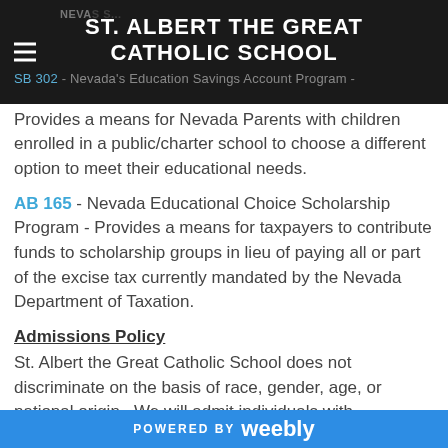ST. ALBERT THE GREAT CATHOLIC SCHOOL
SB 302 - Nevada's Education Savings Account Program - Provides a means for Nevada Parents with children enrolled in a public/charter school to choose a different option to meet their educational needs.
AB 165 - Nevada Educational Choice Scholarship Program - Provides a means for taxpayers to contribute funds to scholarship groups in lieu of paying all or part of the excise tax currently mandated by the Nevada Department of Taxation.
Admissions Policy
St. Albert the Great Catholic School does not discriminate on the basis of race, gender, age, or national origin.  We will admit individuals with handicapping conditions if we can
POWERED BY weebly